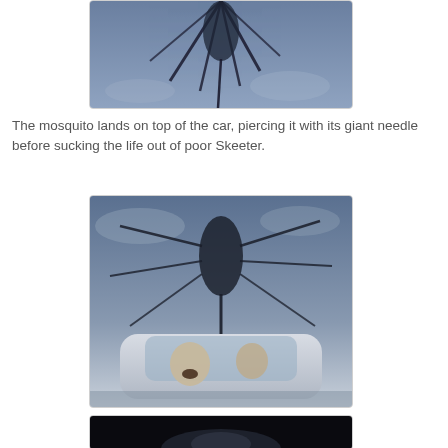[Figure (photo): Black and white / blue-toned still from a film showing a giant mosquito from below against a cloudy sky, its legs and proboscis visible — top portion of frame, cropped at top.]
The mosquito lands on top of the car, piercing it with its giant needle before sucking the life out of poor Skeeter.
[Figure (photo): Blue-toned black and white film still showing a giant mosquito straddling a vintage car, with a person visible through the car window looking up in terror.]
[Figure (photo): Dark film still showing a close-up of the mosquito's underside or a related scene, partially cut off at the bottom of the page.]